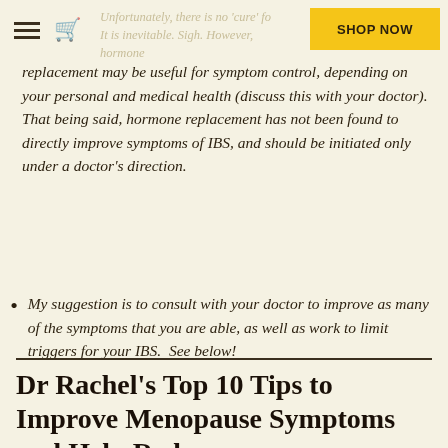Unfortunately, there is no 'cure' for... It is inevitable. Sigh. However, hormone- | Shop Now
replacement may be useful for symptom control, depending on your personal and medical health (discuss this with your doctor).  That being said, hormone replacement has not been found to directly improve symptoms of IBS, and should be initiated only under a doctor's direction.
My suggestion is to consult with your doctor to improve as many of the symptoms that you are able, as well as work to limit triggers for your IBS.  See below!
Dr Rachel's Top 10 Tips to Improve Menopause Symptoms and Help Reduce